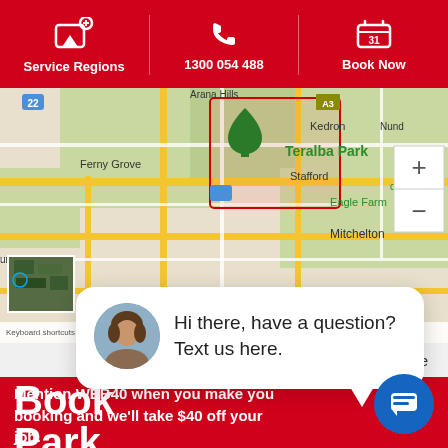Service Regions | 1300 054 488 | Book Now
[Figure (map): Google Map showing suburbs of Brisbane including Teralba Park (highlighted with red border), Arana Hills, Ferny Grove, Mitchelton, Enoggera, Stafford, Kedron, Eagle Farm, Walkabout Creek. Map includes zoom controls, satellite thumbnail, Google branding, and map attribution.]
close
Book Teralba Park
Mention WEB40 when you make your booking and we'll take $40 off your job.
Hi there, have a question? Text us here.